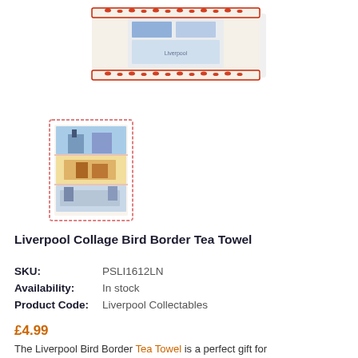[Figure (photo): Main product image of the Liverpool Collage Bird Border Tea Towel — cream/white folded towel with red bird border and colorful Liverpool scenes printed on it.]
[Figure (photo): Thumbnail image of the Liverpool Collage Bird Border Tea Towel showing the full towel laid flat with a red checkered border and multiple Liverpool landmark illustrations.]
Liverpool Collage Bird Border Tea Towel
SKU: PSLI1612LN
Availability: In stock
Product Code: Liverpool Collectables
£4.99
The Liverpool Bird Border Tea Towel is a perfect gift for